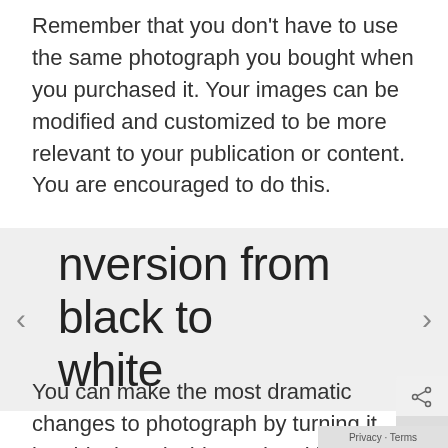Remember that you don't have to use the same photograph you bought when you purchased it. Your images can be modified and customized to be more relevant to your publication or content. You are encouraged to do this.
Conversion from black to white
You can make the most dramatic changes to photograph by turning it into black and white and making a few adjustments. Not every will look good in black and white. Contrast elements are a good indicator of this. You can